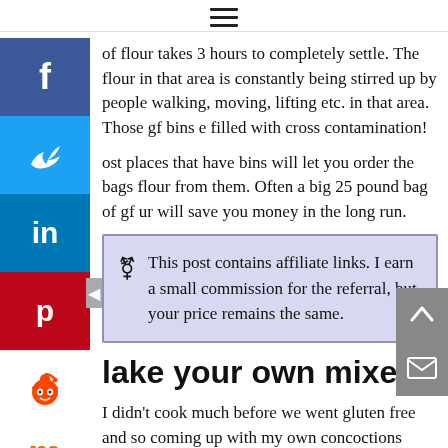≡ (hamburger menu)
of flour takes 3 hours to completely settle. The flour in that area is constantly being stirred up by people walking, moving, lifting etc. in that area. Those gf bins e filled with cross contamination!
ost places that have bins will let you order the bags flour from them. Often a big 25 pound bag of gf ur will save you money in the long run.
This post contains affiliate links. I earn a small commission for the referral, but your price remains the same.
lake your own mixes
I didn't cook much before we went gluten free and so coming up with my own concoctions wasn't going to happen. My cousin went gf (and was diagnosed) before